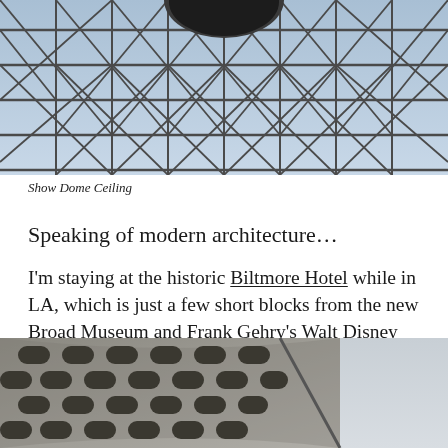[Figure (photo): Looking up at a glass dome ceiling with a geometric steel framework pattern and a circular skylight or sphere visible at the top. Blue sky visible through the triangular glass panels.]
Show Dome Ceiling
Speaking of modern architecture…
I'm staying at the historic Biltmore Hotel while in LA, which is just a few short blocks from the new Broad Museum and Frank Gehry's Walt Disney Concert Hall. I took a stroll down the street after arriving to check both out up close.
[Figure (photo): Close-up exterior view of a modern building facade with curved concrete or stone surfaces featuring a honeycomb-like pattern of rounded rectangular openings/holes arranged in rows. Gray building against a light sky.]